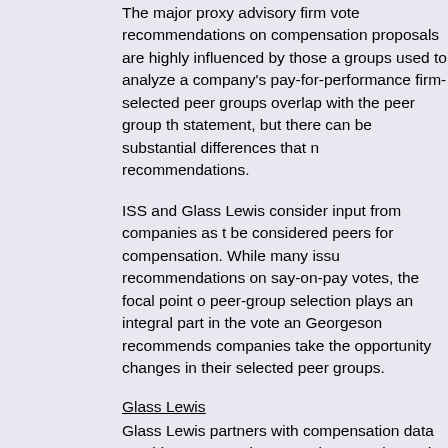The major proxy advisory firm vote recommendations on compensation proposals are highly influenced by those groups used to analyze a company's pay-for-performance firm-selected peer groups overlap with the peer group statement, but there can be substantial differences that recommendations.
ISS and Glass Lewis consider input from companies as be considered peers for compensation. While many recommendations on say-on-pay votes, the focal point peer-group selection plays an integral part in the vote Georgeson recommends companies take the opportunity changes in their selected peer groups.
Glass Lewis
Glass Lewis partners with compensation data provider, Peers that are subsequently used to prepare Glass Lewis analysis. Companies in the Russell 3000 Index can submit website, and here is background on their process. To be calculations, the deadline for updating your peer group is will not be calculated until July 2014.
ISS
The timeframe for Russell 3000 companies with meeting